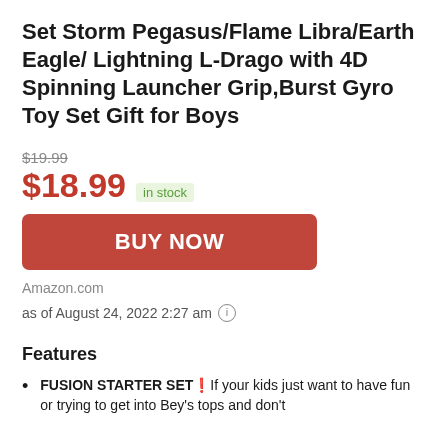Set Storm Pegasus/Flame Libra/Earth Eagle/ Lightning L-Drago with 4D Spinning Launcher Grip,Burst Gyro Toy Set Gift for Boys
$19.99
$18.99 in stock
BUY NOW
Amazon.com
as of August 24, 2022 2:27 am
Features
FUSION STARTER SET❗If your kids just want to have fun or trying to get into Bey's tops and don't